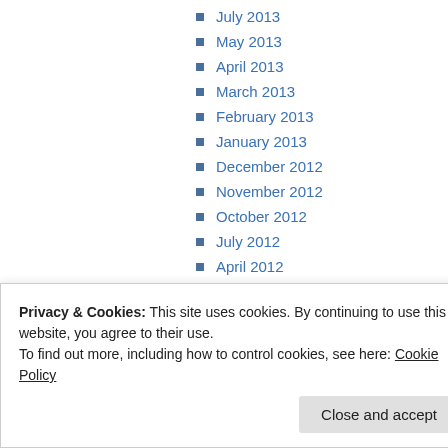July 2013
May 2013
April 2013
March 2013
February 2013
January 2013
December 2012
November 2012
October 2012
July 2012
April 2012
March 2012
October 2011
Privacy & Cookies: This site uses cookies. By continuing to use this website, you agree to their use.
To find out more, including how to control cookies, see here: Cookie Policy
Close and accept